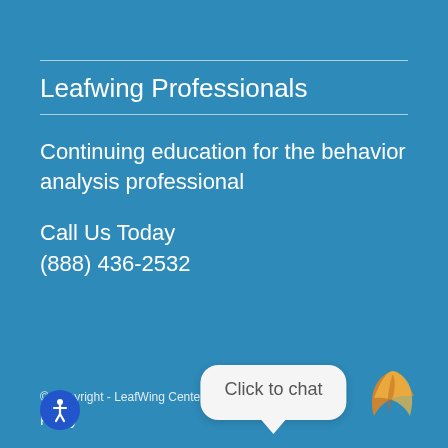Leafwing Professionals
Continuing education for the behavior analysis professional
Call Us Today
(888) 436-2532
© Copyright - LeafWing Center
Policy
[Figure (other): Click to chat speech bubble widget]
[Figure (logo): LeafWing Center logo - stylized orange/gold leaf wing mark]
[Figure (other): Accessibility button - blue circle with person icon]